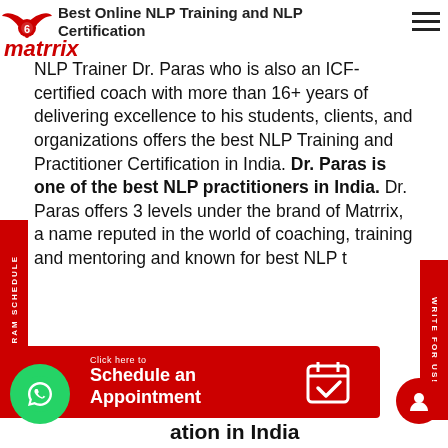Best Online NLP Training and NLP Certification
[Figure (logo): Red winged logo with '6' in center, Matrrix text logo in red italic below]
NLP Trainer Dr. Paras who is also an ICF-certified coach with more than 16+ years of delivering excellence to his students, clients, and organizations offers the best NLP Training and Practitioner Certification in India. Dr. Paras is one of the best NLP practitioners in India. Dr. Paras offers 3 levels under the brand of Matrrix, a name reputed in the world of coaching, training and mentoring and known for best NLP training and NLP Practitioner Certification in India
[Figure (infographic): Red schedule an appointment banner with calendar icon and WhatsApp button]